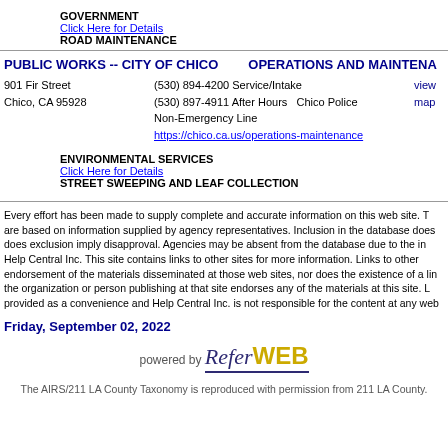GOVERNMENT
Click Here for Details
ROAD MAINTENANCE
PUBLIC WORKS -- CITY OF CHICO    OPERATIONS AND MAINTENANCE
901 Fir Street
Chico, CA 95928
(530) 894-4200 Service/Intake
(530) 897-4911 After Hours   Chico Police   Non-Emergency Line
https://chico.ca.us/operations-maintenance
ENVIRONMENTAL SERVICES
Click Here for Details
STREET SWEEPING AND LEAF COLLECTION
Every effort has been made to supply complete and accurate information on this web site. The listings are based on information supplied by agency representatives. Inclusion in the database does not imply endorsement, nor does exclusion imply disapproval. Agencies may be absent from the database due to the inability to contact Help Central Inc. This site contains links to other sites for more information. Links to other sites are not an endorsement of the materials disseminated at those web sites, nor does the existence of a link imply that the organization or person publishing at that site endorses any of the materials at this site. Links are provided as a convenience and Help Central Inc. is not responsible for the content at any web site.
Friday, September 02, 2022
[Figure (logo): ReferWEB logo with stylized R and text 'powered by ReferWEB']
The AIRS/211 LA County Taxonomy is reproduced with permission from 211 LA County.